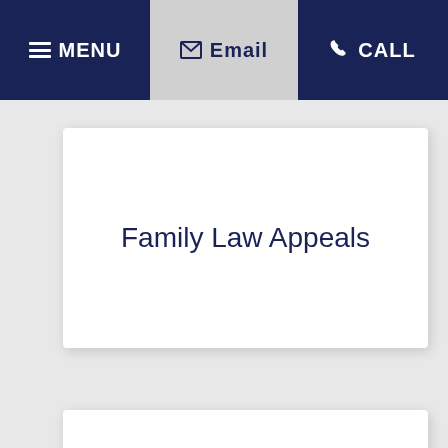MENU | Email | CALL
Family Law Appeals
Domestic Violence